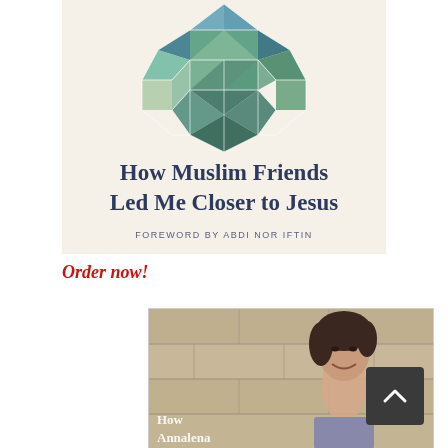[Figure (illustration): Book cover for 'How Muslim Friends Led Me Closer to Jesus' with foreword by Abdi Nor Iftin. Features a geometric diamond/hexagon pattern made of colored tiles in blue, green, and teal at the top on a cream background, with the title in dark navy serif font and the foreword credit in spaced capital letters.]
Order now!
[Figure (photo): Partial view of another book cover showing a black-and-white photograph of a smiling woman with short dark hair against a stone wall background. Text visible reads 'How Annalena' at the bottom left. A dark back-to-top button is visible at the right.]